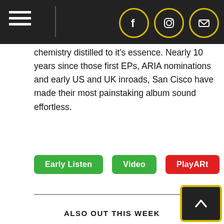[Navigation bar with hamburger menu and social icons: Facebook, Instagram, Email]
chemistry distilled to it's essence. Nearly 10 years since those first EPs, ARIA nominations and early US and UK inroads, San Cisco have made their most painstaking album sound effortless.
Early Listen
Video
PlayARt
ALSO OUT THIS WEEK
Various Artists - AngelHeaded Hipster: The Songs of Marc Bolan & T. Rex [2LP]
Declan McKenna - Zeros
Grant-Lee Phillips - Lightning, Show Us Your Stuff
Hardy - A Rock
Aesop Rock - Float
Various Artists - Two Tone - The Albums [8 CD Box Set]
Fleetwood Mac - Fleetwood Mac: 1969-1974